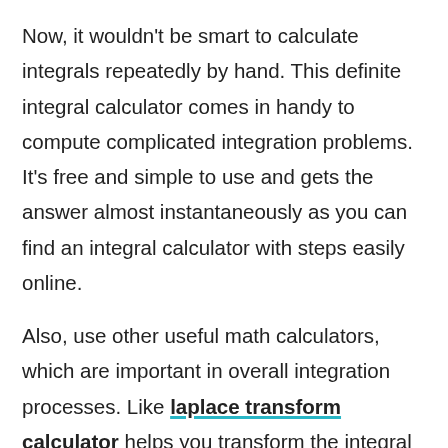Now, it wouldn't be smart to calculate integrals repeatedly by hand. This definite integral calculator comes in handy to compute complicated integration problems. It's free and simple to use and gets the answer almost instantaneously as you can find an integral calculator with steps easily online.
Also, use other useful math calculators, which are important in overall integration processes. Like laplace transform calculator helps you transform the integral of the given derivative function, and